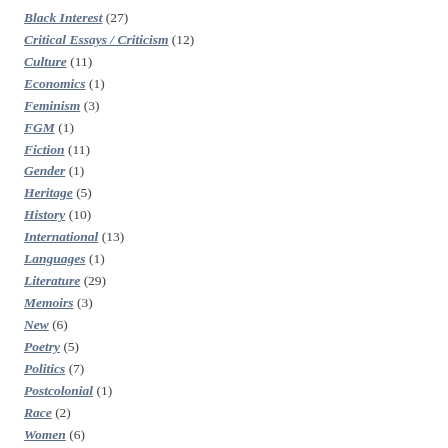Black Interest (27)
Critical Essays / Criticism (12)
Culture (11)
Economics (1)
Feminism (3)
FGM (1)
Fiction (11)
Gender (1)
Heritage (5)
History (10)
International (13)
Languages (1)
Literature (29)
Memoirs (3)
New (6)
Poetry (5)
Politics (7)
Postcolonial (1)
Race (2)
Women (6)